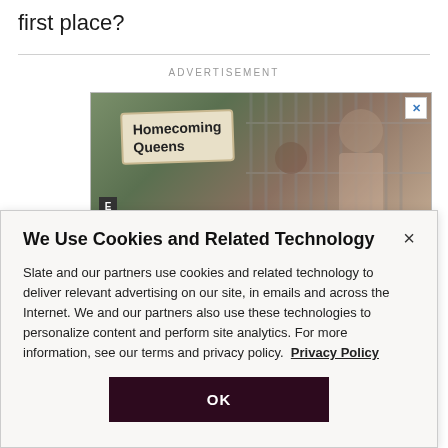first place?
[Figure (photo): Advertisement banner showing two people wearing crowns with a sign reading 'Homecoming Queens' against a fence background. An 'E' badge appears in the lower left and an X close button in the upper right.]
ADVERTISEMENT
We Use Cookies and Related Technology
Slate and our partners use cookies and related technology to deliver relevant advertising on our site, in emails and across the Internet. We and our partners also use these technologies to personalize content and perform site analytics. For more information, see our terms and privacy policy. Privacy Policy
OK